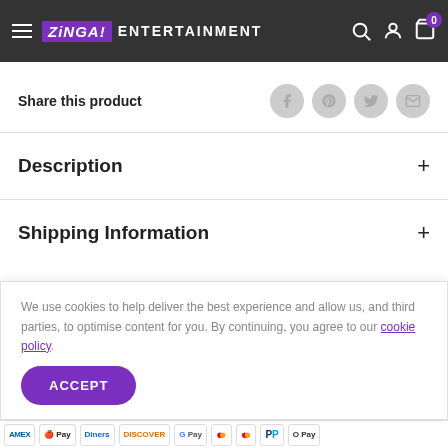ZINGA! ENTERTAINMENT
Share this product
Description
Shipping Information
We use cookies to help deliver the best experience and allow us, and third parties, to optimise content for you. By continuing, you agree to our cookie policy.
ACCEPT
AMEX  Apple Pay  Diners  Discover  G Pay  Maestro  Mastercard  PayPal  OPay